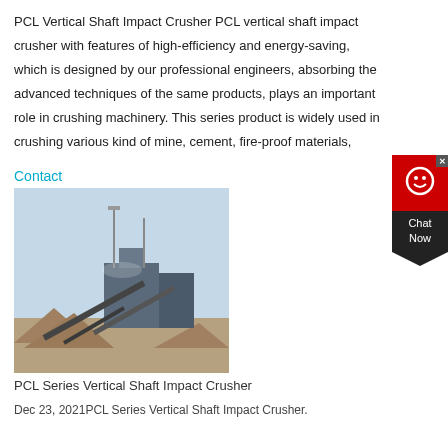PCL Vertical Shaft Impact Crusher PCL vertical shaft impact crusher with features of high-efficiency and energy-saving, which is designed by our professional engineers, absorbing the advanced techniques of the same products, plays an important role in crushing machinery. This series product is widely used in crushing various kind of mine, cement, fire-proof materials,
Contact
[Figure (photo): Industrial PCL Series Vertical Shaft Impact Crusher facility with conveyor belts, buildings, and material piles at a mining or crushing plant site.]
PCL Series Vertical Shaft Impact Crusher
Dec 23, 2021PCL Series Vertical Shaft Impact Crusher.